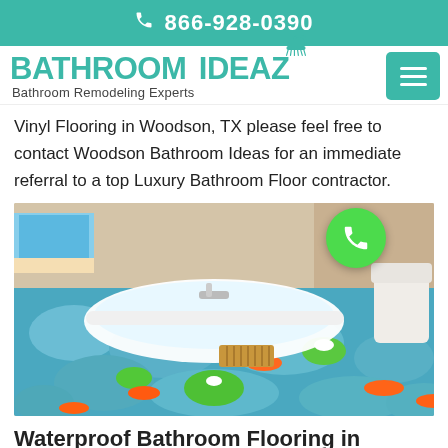📞 866-928-0390
[Figure (logo): Bathroom Ideaz logo with shower head icon and text 'Bathroom Remodeling Experts']
Vinyl Flooring in Woodson, TX please feel free to contact Woodson Bathroom Ideas for an immediate referral to a top Luxury Bathroom Floor contractor.
[Figure (photo): Luxury bathroom with white freestanding bathtub on a 3D vinyl floor featuring blue stones, koi fish, and lily pads. Green call button overlay in top right corner.]
Waterproof Bathroom Flooring in Woodson